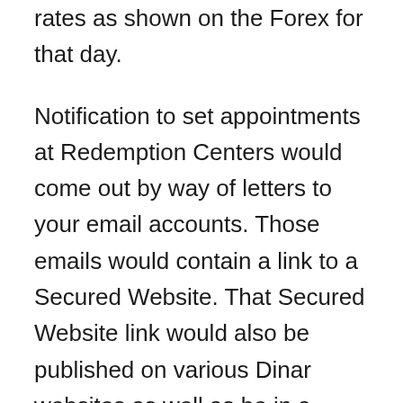rates as shown on the Forex for that day.
Notification to set appointments at Redemption Centers would come out by way of letters to your email accounts. Those emails would contain a link to a Secured Website. That Secured Website link would also be published on various Dinar websites as well as be in a Restored Republic via a GCR Update.
To access an appointment at a Redemption Center, go into the Secured Website where it would ask you to verify that you are you, after which you would be given an individual 800